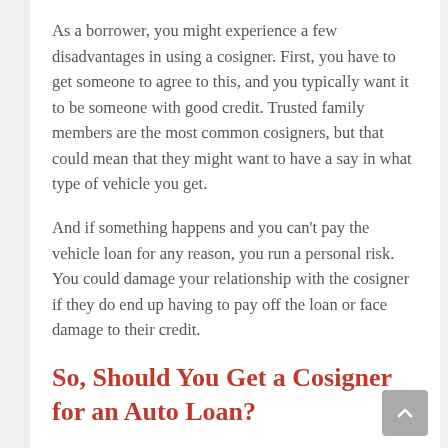As a borrower, you might experience a few disadvantages in using a cosigner. First, you have to get someone to agree to this, and you typically want it to be someone with good credit. Trusted family members are the most common cosigners, but that could mean that they might want to have a say in what type of vehicle you get.
And if something happens and you can't pay the vehicle loan for any reason, you run a personal risk. You could damage your relationship with the cosigner if they do end up having to pay off the loan or face damage to their credit.
So, Should You Get a Cosigner for an Auto Loan?
The decision is personal. Before you do anything, check your credit and understand where you are financially. That helps you know what your chances for getting a